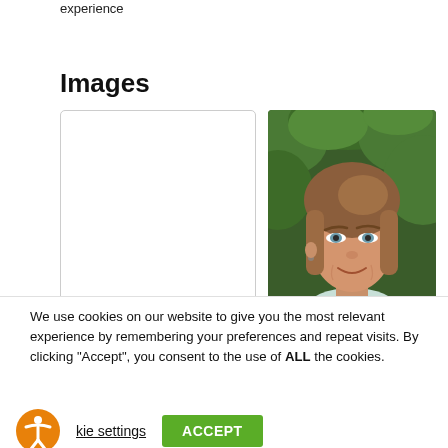…Daisy Young at Associates offering a seamless experience
Images
[Figure (photo): Blank white image placeholder with border]
[Figure (photo): Portrait photo of a smiling woman with brown hair in front of green foliage background]
We use cookies on our website to give you the most relevant experience by remembering your preferences and repeat visits. By clicking “Accept”, you consent to the use of ALL the cookies.
Cookie settings
ACCEPT